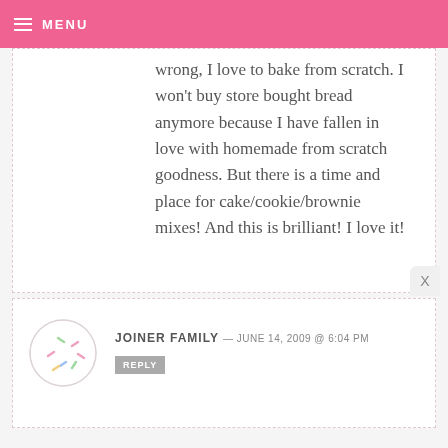MENU
wrong, I love to bake from scratch. I won't buy store bought bread anymore because I have fallen in love with homemade from scratch goodness. But there is a time and place for cake/cookie/brownie mixes! And this is brilliant! I love it!
JOINER FAMILY — JUNE 14, 2009 @ 6:04 PM
REPLY